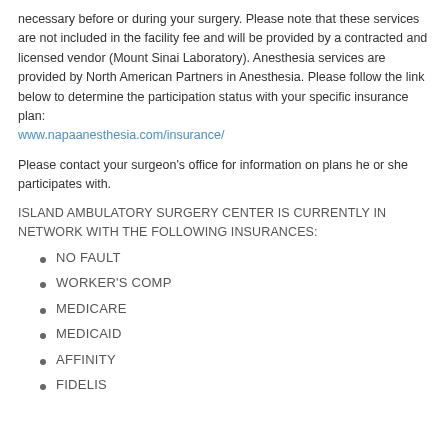necessary before or during your surgery. Please note that these services are not included in the facility fee and will be provided by a contracted and licensed vendor (Mount Sinai Laboratory). Anesthesia services are provided by North American Partners in Anesthesia. Please follow the link below to determine the participation status with your specific insurance plan: www.napaanesthesia.com/insurance/
Please contact your surgeon's office for information on plans he or she participates with.
ISLAND AMBULATORY SURGERY CENTER IS CURRENTLY IN NETWORK WITH THE FOLLOWING INSURANCES:
NO FAULT
WORKER'S COMP
MEDICARE
MEDICAID
AFFINITY
FIDELIS